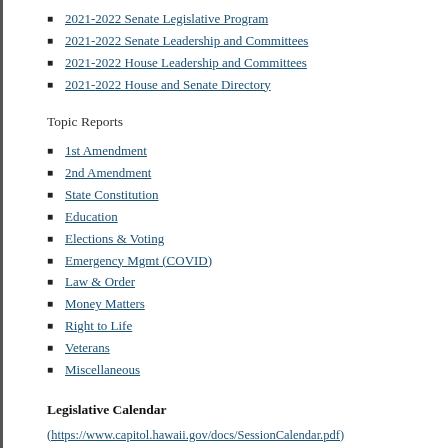2021-2022 Senate Legislative Program
2021-2022 Senate Leadership and Committees
2021-2022 House Leadership and Committees
2021-2022 House and Senate Directory
Topic Reports
1st Amendment
2nd Amendment
State Constitution
Education
Elections & Voting
Emergency Mgmt (COVID)
Law & Order
Money Matters
Right to Life
Veterans
Miscellaneous
Legislative Calendar
(https://www.capitol.hawaii.gov/docs/SessionCalendar.pdf)
FEB 11–TRIPLE REFERRAL FILING (BILLS) – All bills referred to three or m